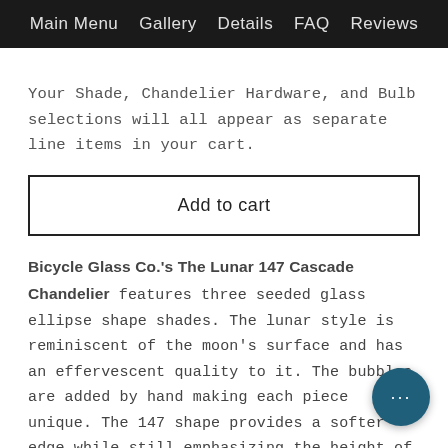Main Menu  Gallery  Details  FAQ  Reviews
Your Shade, Chandelier Hardware, and Bulb selections will all appear as separate line items in your cart.
Add to cart
Bicycle Glass Co.'s The Lunar 147 Cascade Chandelier features three seeded glass ellipse shape shades. The lunar style is reminiscent of the moon's surface and has an effervescent quality to it. The bubbles are added by hand making each piece unique. The 147 shape provides a softer edge while still emphasizing the height of a space. The design works well in many different styles of decor including, traditional, transitional, beach style, modern, or